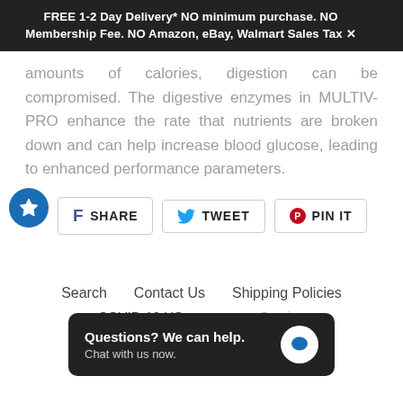FREE 1-2 Day Delivery* NO minimum purchase. NO Membership Fee. NO Amazon, eBay, Walmart Sales Tax
amounts of calories, digestion can be compromised. The digestive enzymes in MULTIV-PRO enhance the rate that nutrients are broken down and can help increase blood glucose, leading to enhanced performance parameters.
[Figure (infographic): Three social share buttons: Facebook SHARE, Twitter TWEET, Pinterest PIN IT. A blue circular star badge overlaps the left side.]
Search   Contact Us   Shipping Policies
COVID-19 US...   ...press Service
[Figure (screenshot): Chat popup overlay: dark background rounded rectangle with text 'Questions? We can help. Chat with us now.' and a white circle containing a blue speech bubble icon on the right.]